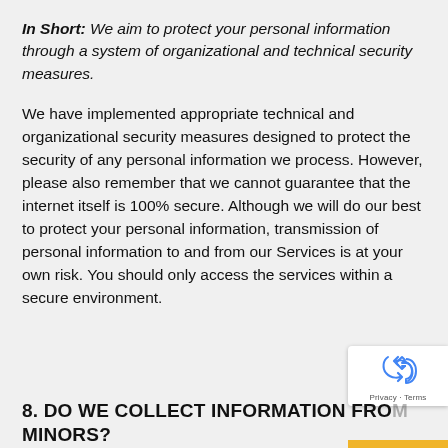In Short: We aim to protect your personal information through a system of organizational and technical security measures.
We have implemented appropriate technical and organizational security measures designed to protect the security of any personal information we process. However, please also remember that we cannot guarantee that the internet itself is 100% secure. Although we will do our best to protect your personal information, transmission of personal information to and from our Services is at your own risk. You should only access the services within a secure environment.
8. DO WE COLLECT INFORMATION FROM MINORS?